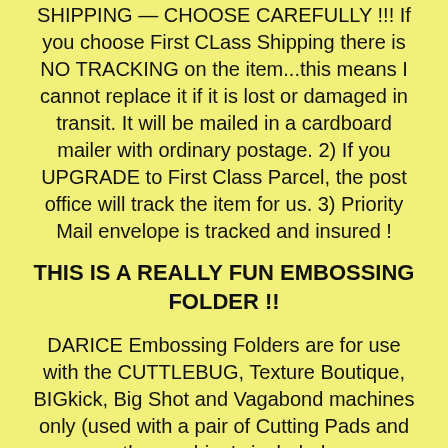SHIPPING — CHOOSE CAREFULLY !!! If you choose First CLass Shipping there is NO TRACKING on the item...this means I cannot replace it if it is lost or damaged in transit. It will be mailed in a cardboard mailer with ordinary postage. 2) If you UPGRADE to First Class Parcel, the post office will track the item for us. 3) Priority Mail envelope is tracked and insured !
THIS IS A REALLY FUN EMBOSSING FOLDER !!
DARICE Embossing Folders are for use with the CUTTLEBUG, Texture Boutique, BIGkick, Big Shot and Vagabond machines only (used with a pair of Cutting Pads and the machine's included Platform)